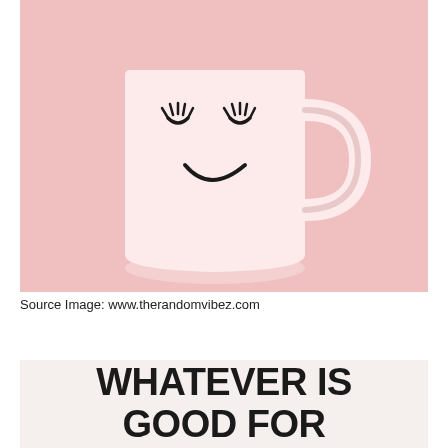[Figure (photo): A white ceramic mug with a smiley face featuring closed eyes with lashes drawn in black, on a pink background.]
Source Image: www.therandomvibez.com
[Figure (infographic): Beige/cream background with large bold black text reading: WHATEVER IS GOOD FOR]